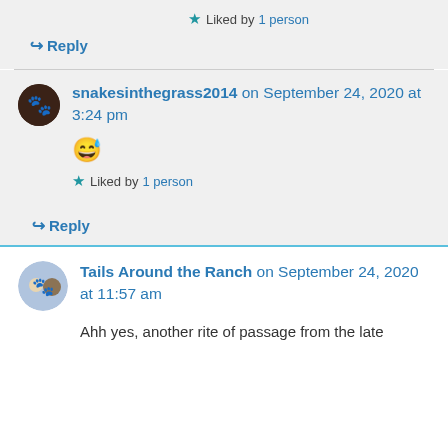★ Liked by 1 person
↳ Reply
snakesinthegrass2014 on September 24, 2020 at 3:24 pm
😅
★ Liked by 1 person
↳ Reply
Tails Around the Ranch on September 24, 2020 at 11:57 am
Ahh yes, another rite of passage from the late